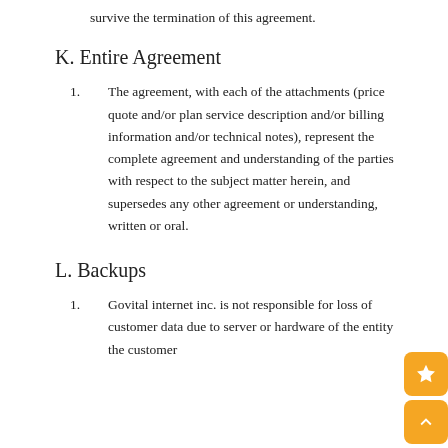survive the termination of this agreement.
K. Entire Agreement
The agreement, with each of the attachments (price quote and/or plan service description and/or billing information and/or technical notes), represent the complete agreement and understanding of the parties with respect to the subject matter herein, and supersedes any other agreement or understanding, written or oral.
L. Backups
Govital internet inc. is not responsible for loss of customer data due to server or hardware failure or at the customer's request.